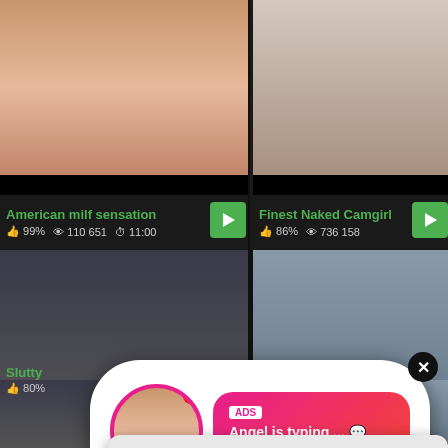[Figure (screenshot): Adult video thumbnail top left - couple]
[Figure (screenshot): Adult video thumbnail top right - woman on floor]
American milf sensation
99%  110 651  11:00
Finest Naked Camgirl
86%  736 158
[Figure (screenshot): Adult video thumbnail middle left]
[Figure (screenshot): Adult video thumbnail middle right]
[Figure (infographic): ADS chat popup: Angel is typing... with LIVE avatar badge and (1) unread message notification bubble]
[Figure (infographic): ADS missed call popup: (1)Missed Call from Eliza, pleeease call me back.. I miss you!, with audio player showing 0:00 to 3:23]
Slutty
80%
[Figure (screenshot): Adult video thumbnail bottom left]
[Figure (screenshot): Adult video thumbnail bottom right]